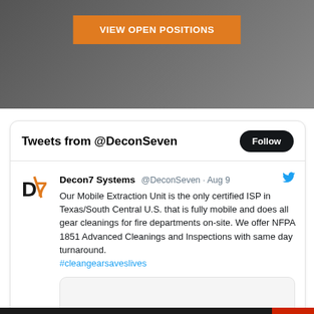[Figure (illustration): Banner image showing illustrated people (cartoon characters) with an orange 'VIEW OPEN POSITIONS' button overlay. Background is dark grey with illustrated figures.]
Tweets from @DeconSeven
Decon7 Systems @DeconSeven · Aug 9
Our Mobile Extraction Unit is the only certified ISP in Texas/South Central U.S. that is fully mobile and does all gear cleanings for fire departments on-site. We offer NFPA 1851 Advanced Cleanings and Inspections with same day turnaround. #cleangearsaveslives